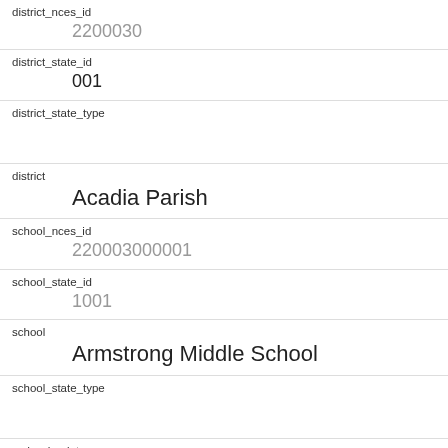| Field | Value |
| --- | --- |
| district_nces_id | 2200030 |
| district_state_id | 001 |
| district_state_type |  |
| district | Acadia Parish |
| school_nces_id | 220003000001 |
| school_state_id | 1001 |
| school | Armstrong Middle School |
| school_state_type |  |
| ccd_school_type | Regular School |
| ccd_charter_school | No |